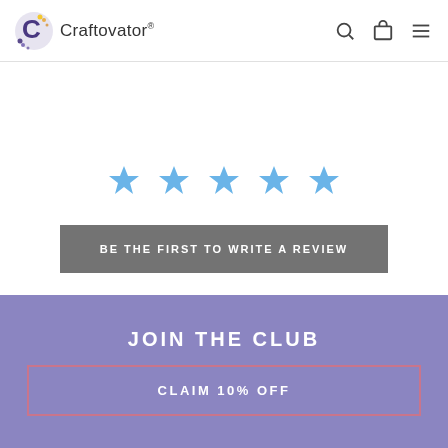Craftovator®
[Figure (illustration): Five blue star rating icons in a horizontal row]
BE THE FIRST TO WRITE A REVIEW
JOIN THE CLUB
CLAIM 10% OFF